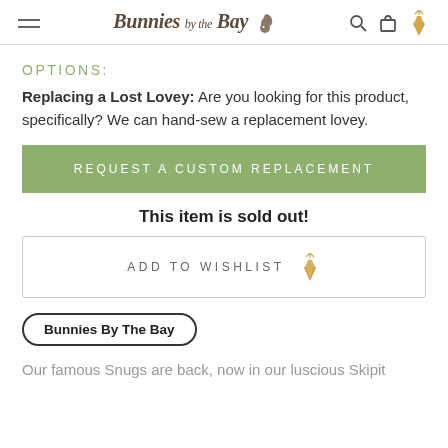Bunnies by the Bay
OPTIONS:
Replacing a Lost Lovey: Are you looking for this product, specifically? We can hand-sew a replacement lovey.
REQUEST A CUSTOM REPLACEMENT
This item is sold out!
ADD TO WISHLIST
Bunnies By The Bay
Our famous Snugs are back, now in our luscious Skipit